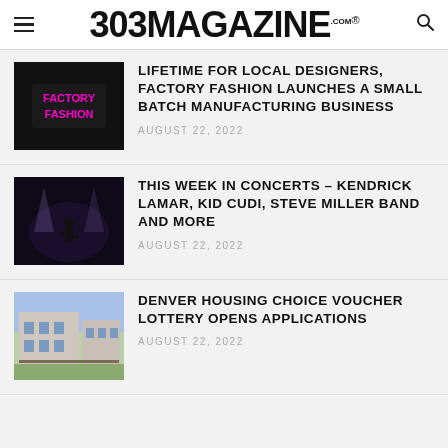303 MAGAZINE .COM ®
LIFETIME FOR LOCAL DESIGNERS, FACTORY FASHION LAUNCHES A SMALL BATCH MANUFACTURING BUSINESS
AUGUST 22, 2022
THIS WEEK IN CONCERTS – KENDRICK LAMAR, KID CUDI, STEVE MILLER BAND AND MORE
AUGUST 22, 2022
DENVER HOUSING CHOICE VOUCHER LOTTERY OPENS APPLICATIONS
AUGUST 22, 2022